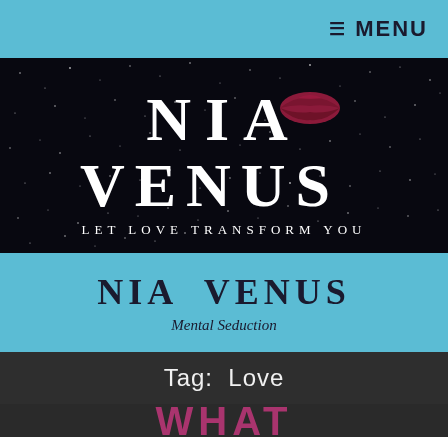≡ MENU
[Figure (logo): Nia Venus logo on a starry black background. Large text reads 'NIA VENUS' with a dark red lips icon. Subtitle reads 'LET LOVE TRANSFORM YOU'.]
NIA VENUS
Mental Seduction
Tag: Love
WHAT (partially visible at bottom)